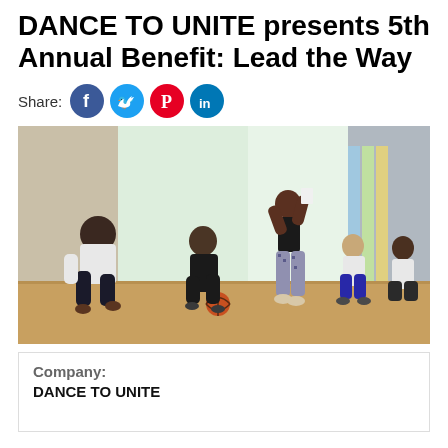DANCE TO UNITE presents 5th Annual Benefit: Lead the Way
Share: [Facebook] [Twitter] [Pinterest] [LinkedIn]
[Figure (photo): Five dancers performing in a large bright room with colorful panels. One person on the left crouches low in casual clothes, another in black crouches in the center-left, a woman in the center stands with arms raised wearing printed pants and black top, and two more performers crouch or sit on the right side wearing white t-shirts. A basketball is visible on the floor.]
Company: DANCE TO UNITE